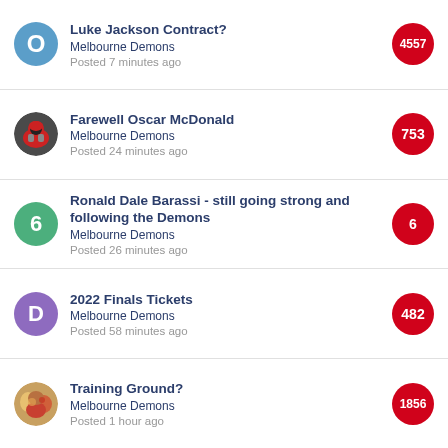Luke Jackson Contract? | Melbourne Demons | Posted 7 minutes ago | 4557
Farewell Oscar McDonald | Melbourne Demons | Posted 24 minutes ago | 753
Ronald Dale Barassi - still going strong and following the Demons | Melbourne Demons | Posted 26 minutes ago | 6
2022 Finals Tickets | Melbourne Demons | Posted 58 minutes ago | 482
Training Ground? | Melbourne Demons | Posted 1 hour ago | 1856